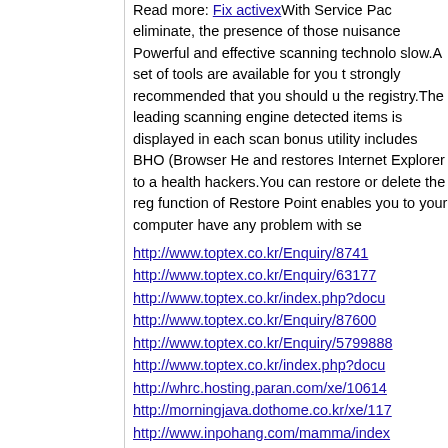Read more: Fix activexWith Service Pack eliminate, the presence of those nuisance Powerful and effective scanning technolo slow.A set of tools are available for you t strongly recommended that you should u the registry.The leading scanning engine detected items is displayed in each scan bonus utility includes BHO (Browser He and restores Internet Explorer to a health hackers.You can restore or delete the reg function of Restore Point enables you to your computer have any problem with se
http://www.toptex.co.kr/Enquiry/8741
http://www.toptex.co.kr/Enquiry/63177
http://www.toptex.co.kr/index.php?docu
http://www.toptex.co.kr/Enquiry/87600
http://www.toptex.co.kr/Enquiry/5799888
http://www.toptex.co.kr/index.php?docu
http://whrc.hosting.paran.com/xe/10614
http://morningjava.dothome.co.kr/xe/117
http://www.inpohang.com/mamma/index
http://www.inpohang.com/mamma/1296
BDGKQo9291